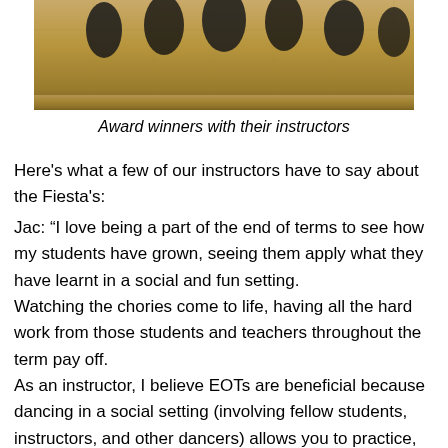[Figure (photo): Group photo of award winners with their instructors on a wooden parquet floor, partially visible at top of page]
Award winners with their instructors
Here's what a few of our instructors have to say about the Fiesta's:
Jac: "I love being a part of the end of terms to see how my students have grown, seeing them apply what they have learnt in a social and fun setting.
Watching the chories come to life, having all the hard work from those students and teachers throughout the term pay off.
As an instructor, I believe EOTs are beneficial because dancing in a social setting (involving fellow students, instructors, and other dancers) allows you to practice, learn, and expand your lead and follow techniques. It allows students to apply what they have learnt